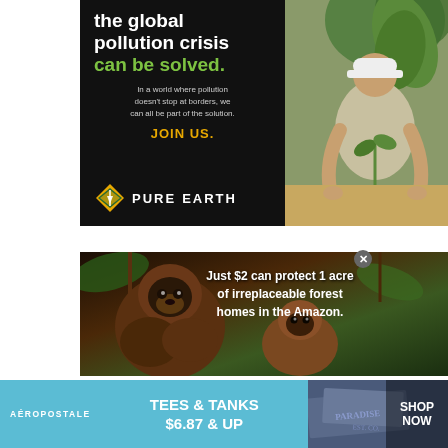[Figure (illustration): Pure Earth charity advertisement. Left panel black background with white headline 'the global pollution crisis can be solved.' in green, body text about pollution, gold 'JOIN US.' call to action, and Pure Earth diamond logo. Right panel shows photo of man in hard hat planting a tree seedling.]
[Figure (photo): Amazon conservation advertisement showing two monkeys in lush green rainforest with white bold text: 'Just $2 can protect 1 acre of irreplaceable forest homes in the Amazon.']
[Figure (illustration): Aéropostale banner advertisement with light blue background. Text: AÉROPOSTALE | TEES & TANKS $6.87 & UP | SHOP NOW. Right side shows partial photo of folded clothing with 'PARADISE' text visible.]